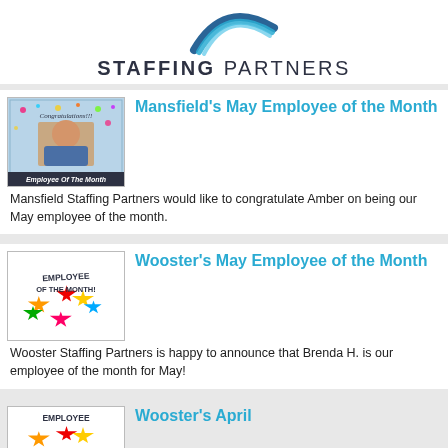[Figure (logo): Staffing Partners logo with arc swoosh graphic above bold text STAFFING PARTNERS]
Mansfield's May Employee of the Month
[Figure (photo): Photo of Amber holding a shirt with Congratulations banner and Employee Of The Month label]
Mansfield Staffing Partners would like to congratulate Amber on being our May employee of the month.
Wooster's May Employee of the Month
[Figure (illustration): Colorful stars graphic with text EMPLOYEE OF THE MONTH!]
Wooster Staffing Partners is happy to announce that Brenda H. is our employee of the month for May!
Wooster's April